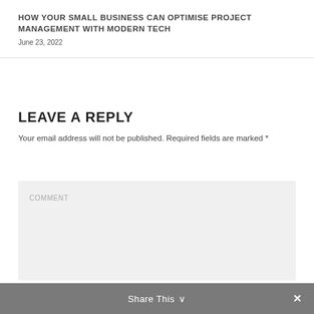HOW YOUR SMALL BUSINESS CAN OPTIMISE PROJECT MANAGEMENT WITH MODERN TECH
June 23, 2022
LEAVE A REPLY
Your email address will not be published. Required fields are marked *
COMMENT
Share This ∨  ✕